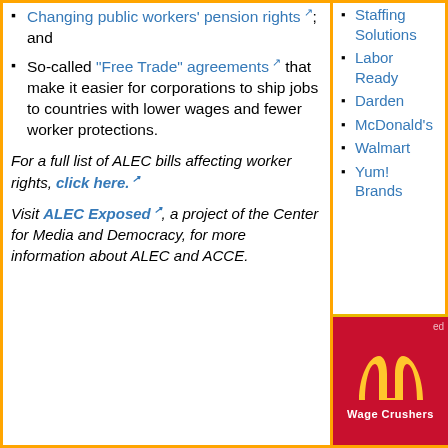Changing public workers' pension rights; and
So-called "Free Trade" agreements that make it easier for corporations to ship jobs to countries with lower wages and fewer worker protections.
For a full list of ALEC bills affecting worker rights, click here.
Visit ALEC Exposed, a project of the Center for Media and Democracy, for more information about ALEC and ACCE.
Staffing Solutions
Labor Ready
Darden
McDonald's
Walmart
Yum! Brands
[Figure (logo): McDonald's golden arches logo with 'Wage Crushers' text on a red background]